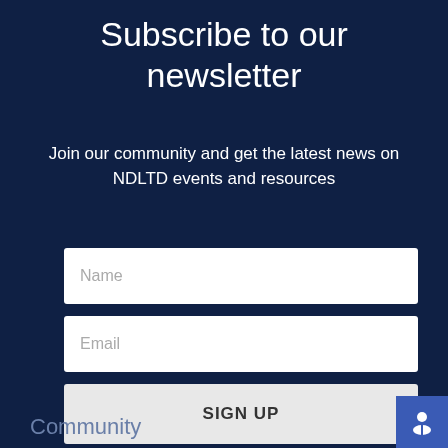Subscribe to our newsletter
Join our community and get the latest news on NDLTD events and resources
[Figure (screenshot): Newsletter subscription form with Name input field, Email input field, and SIGN UP button on dark navy background]
Community